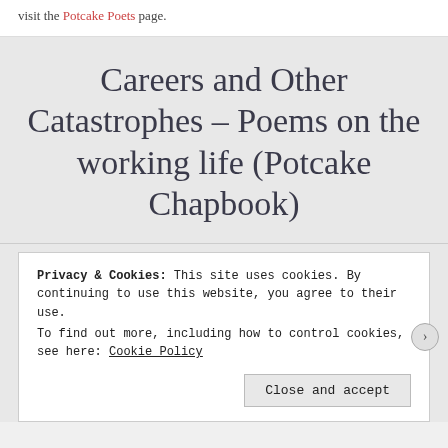visit the Potcake Poets page.
Careers and Other Catastrophes – Poems on the working life (Potcake Chapbook)
Privacy & Cookies: This site uses cookies. By continuing to use this website, you agree to their use.
To find out more, including how to control cookies, see here: Cookie Policy
Close and accept